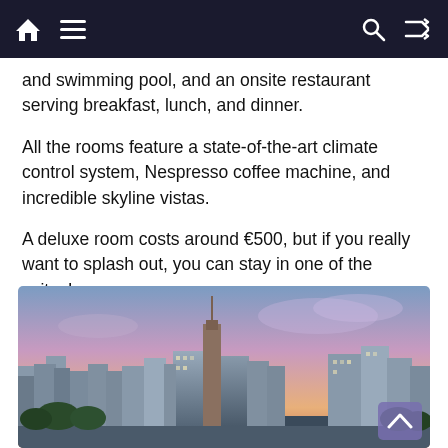Navigation bar with home, menu, search, and shuffle icons
and swimming pool, and an onsite restaurant serving breakfast, lunch, and dinner.
All the rooms feature a state-of-the-art climate control system, Nespresso coffee machine, and incredible skyline vistas.
A deluxe room costs around €500, but if you really want to splash out, you can stay in one of the suites!
[Figure (photo): City skyline at sunset/dusk showing modern skyscrapers with a pink and purple sky behind them, likely Frankfurt, Germany.]